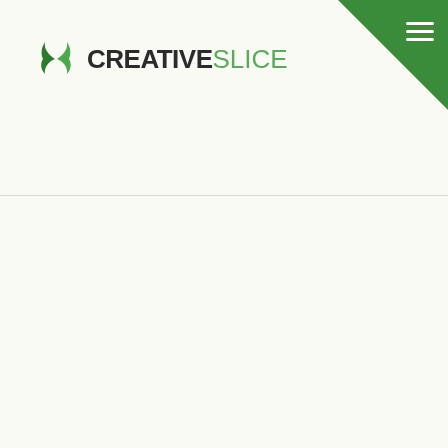[Figure (logo): Creative Slice logo with two green leaf shapes forming a circular icon, followed by bold dark text 'CREATIVE' and light green text 'SLICE']